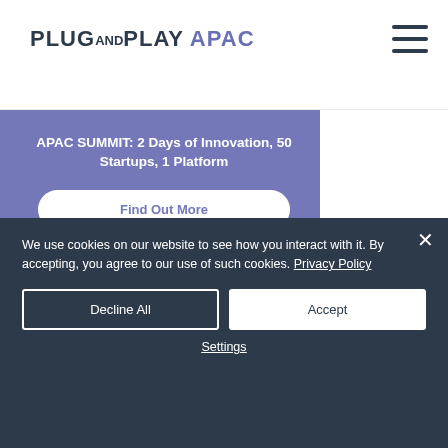[Figure (logo): PLUG AND PLAY APAC logo with hamburger menu icon]
APAC SUMMIT: 2 Days of Innovation, 50 Startups, 1 Platform
Find Out More
Overview
Our Partners
Become a Partner
MENTORS
LinkedIn
Facebook
Twitter
Instagram
Plug and Play Tech Center
We use cookies on our website to see how you interact with it. By accepting, you agree to our use of such cookies. Privacy Policy
Decline All
Accept
Settings